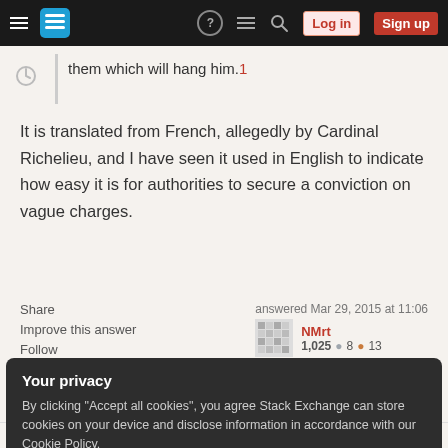Stack Exchange navigation bar with Log in and Sign up buttons
them which will hang him.1
It is translated from French, allegedly by Cardinal Richelieu, and I have seen it used in English to indicate how easy it is for authorities to secure a conviction on vague charges.
Share
Improve this answer
Follow
answered Mar 29, 2015 at 11:06
NMrt
1,025  8  13
Your privacy
By clicking "Accept all cookies", you agree Stack Exchange can store cookies on your device and disclose information in accordance with our Cookie Policy.
Accept all cookies
Customize settings
kilometers), you're going to get a ticket," – Raydot Mar